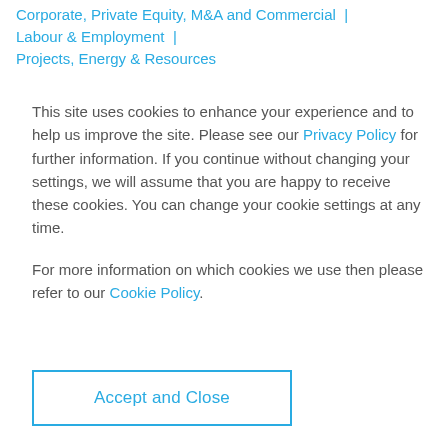Corporate, Private Equity, M&A and Commercial | Labour & Employment | Projects, Energy & Resources
This site uses cookies to enhance your experience and to help us improve the site. Please see our Privacy Policy for further information. If you continue without changing your settings, we will assume that you are happy to receive these cookies. You can change your cookie settings at any time.
For more information on which cookies we use then please refer to our Cookie Policy.
Accept and Close